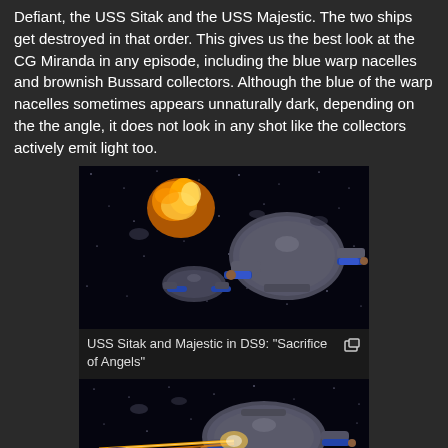Defiant, the USS Sitak and the USS Majestic. The two ships get destroyed in that order. This gives us the best look at the CG Miranda in any episode, including the blue warp nacelles and brownish Bussard collectors. Although the blue of the warp nacelles sometimes appears unnaturally dark, depending on the the angle, it does not look in any shot like the collectors actively emit light too.
[Figure (photo): CG scene of USS Sitak and USS Majestic starships in space battle from DS9 episode Sacrifice of Angels, with explosion in background]
USS Sitak and Majestic in DS9: "Sacrifice of Angels"
[Figure (photo): CG scene of Miranda-class starship being struck by weapons fire, orange/yellow phaser beams visible, space background]